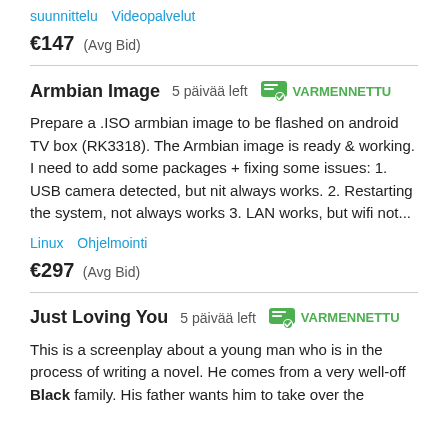suunnittelu   Videopalvelut
€147  (Avg Bid)
Armbian Image  5 päivää left  VARMENNETTU
Prepare a .ISO armbian image to be flashed on android TV box (RK3318). The Armbian image is ready & working. I need to add some packages + fixing some issues: 1. USB camera detected, but nit always works. 2. Restarting the system, not always works 3. LAN works, but wifi not...
Linux  Ohjelmointi
€297  (Avg Bid)
Just Loving You  5 päivää left  VARMENNETTU
This is a screenplay about a young man who is in the process of writing a novel. He comes from a very well-off Black family. His father wants him to take over the